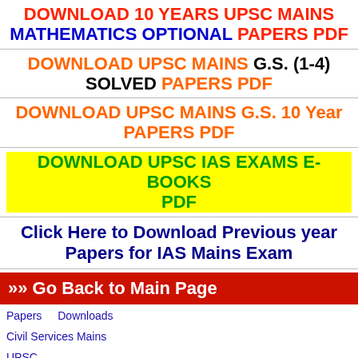DOWNLOAD 10 YEARS UPSC MAINS MATHEMATICS OPTIONAL PAPERS PDF
DOWNLOAD UPSC MAINS G.S. (1-4) SOLVED PAPERS PDF
DOWNLOAD UPSC MAINS G.S. 10 Year PAPERS PDF
DOWNLOAD UPSC IAS EXAMS E-BOOKS PDF
Click Here to Download Previous year Papers for IAS Mains Exam
»» Go Back to Main Page
Papers    Downloads
Civil Services Mains
UPSC
Mathematics